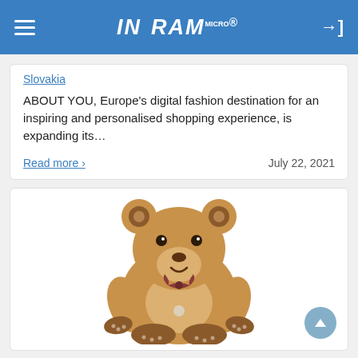Ingram Micro
Slovakia
ABOUT YOU, Europe's digital fashion destination for an inspiring and personalised shopping experience, is expanding its…
Read more ›   July 22, 2021
[Figure (photo): Photo of a brown teddy bear stuffed animal sitting upright, with darker brown paw pads and ear inserts, a small bow at its neck, and a friendly face.]